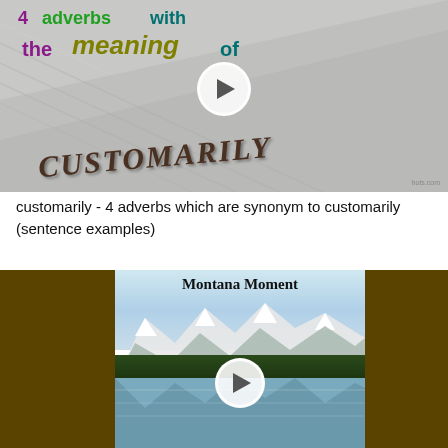[Figure (screenshot): Video thumbnail showing the word CUSTOMARILY on a textured paper background with colorful floating text '4 adverbs with the meaning of' and a play button overlay. Site credit 'hots.com' visible.]
customarily - 4 adverbs which are synonym to customarily (sentence examples)
[Figure (screenshot): Video thumbnail showing 'Montana Moment' title text over a mountain lake landscape with snow-capped peaks, dark forest, and reflective water. Dark brown side panels frame the center image. A play button overlay is visible.]